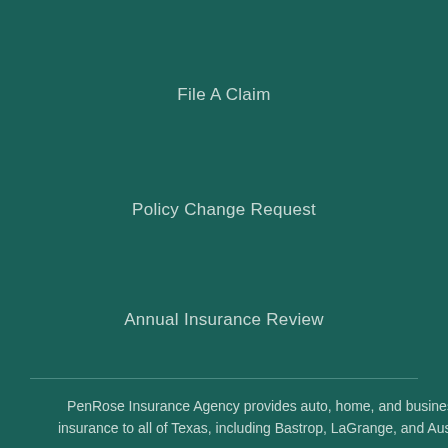File A Claim
Policy Change Request
Annual Insurance Review
PenRose Insurance Agency provides auto, home, and business insurance to all of Texas, including Bastrop, LaGrange, and Austin.
Smithville Office
PenRose Insurance Agency
Smithville, TX